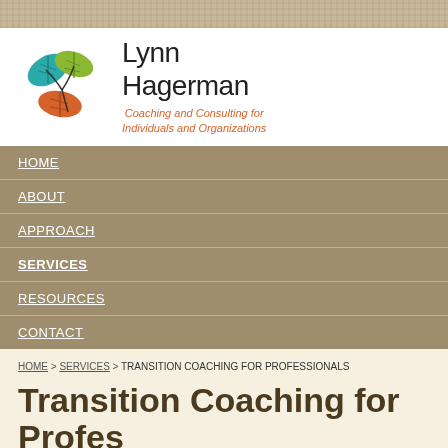[Figure (logo): Lynn Hagerman logo with three leaves in teal, green, and orange arranged in a circular pattern, with company name and tagline]
Lynn Hagerman - Coaching and Consulting for Individuals and Organizations
HOME
ABOUT
APPROACH
SERVICES
RESOURCES
CONTACT
HOME > SERVICES > TRANSITION COACHING FOR PROFESSIONALS
Transition Coaching for Professionals